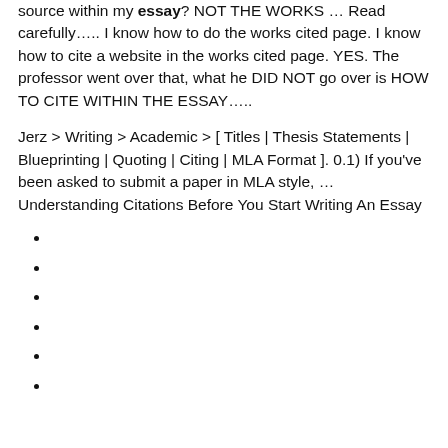source within my essay? NOT THE WORKS … Read carefully….. I know how to do the works cited page. I know how to cite a website in the works cited page. YES. The professor went over that, what he DID NOT go over is HOW TO CITE WITHIN THE ESSAY…..
Jerz > Writing > Academic > [ Titles | Thesis Statements | Blueprinting | Quoting | Citing | MLA Format ]. 0.1) If you've been asked to submit a paper in MLA style, … Understanding Citations Before You Start Writing An Essay